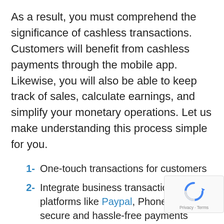As a result, you must comprehend the significance of cashless transactions. Customers will benefit from cashless payments through the mobile app. Likewise, you will also be able to keep track of sales, calculate earnings, and simplify your monetary operations. Let us make understanding this process simple for you.
1- One-touch transactions for customers
2- Integrate business transaction platforms like Paypal, PhonePe for secure and hassle-free payments
3- Incorporate payments gateways like CCAvenue, Stripe, and so on for easy